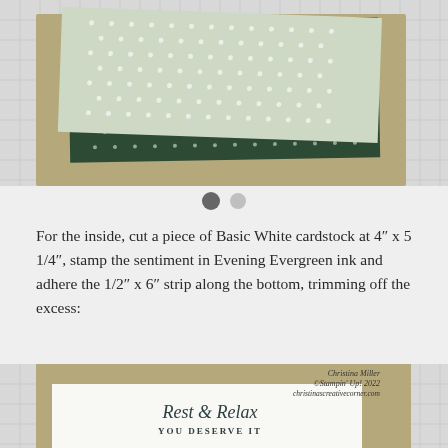[Figure (photo): Top portion of a crafting photo showing layered cardstock pieces on a grid cutting mat — tan/kraft base card with dark green and light green dotted paper layers on top]
For the inside, cut a piece of Basic White cardstock at 4" x 5 1/4", stamp the sentiment in Evening Evergreen ink and adhere the 1/2" x 6" strip along the bottom, trimming off the excess:
[Figure (photo): Bottom portion of a crafting photo showing the inside of a card with a white panel stamped with 'Rest & Relax YOU DESERVE IT' in script and serif fonts, placed on a tan card base on a grid mat. Watermark text reads: Christina Miller, ©Stampin' Up! 2022, christinascreativecorner.com]